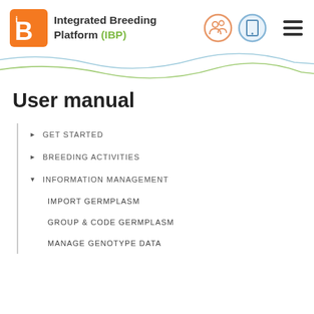[Figure (logo): Integrated Breeding Platform (IBP) logo with orange B icon, navigation icons (orange people circle, blue tablet circle), and hamburger menu]
User manual
GET STARTED
BREEDING ACTIVITIES
INFORMATION MANAGEMENT
IMPORT GERMPLASM
GROUP & CODE GERMPLASM
MANAGE GENOTYPE DATA